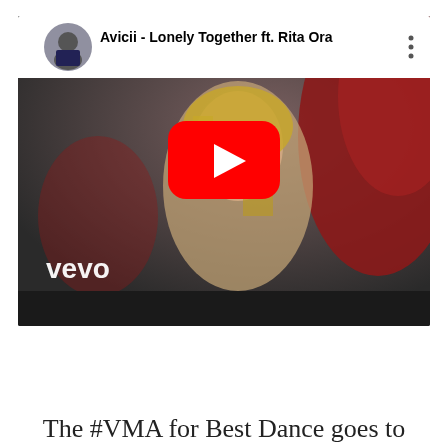[Figure (screenshot): YouTube video embed showing Avicii - Lonely Together ft. Rita Ora music video with Vevo branding. Red YouTube play button in center. Shows a woman with blonde hair in a red outfit. Channel avatar of Avicii in top left corner.]
The #VMA for Best Dance goes to